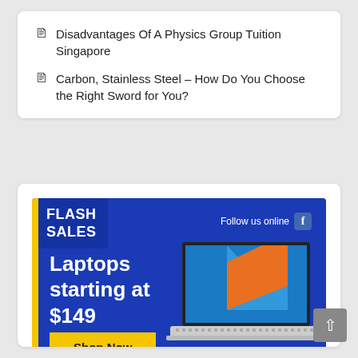Disadvantages Of A Physics Group Tuition Singapore
Carbon, Stainless Steel – How Do You Choose the Right Sword for You?
[Figure (infographic): Flash Sales advertisement banner for laptops. Blue background with yellow accent bar on left. Text reads: FLASH SALES, Follow us online [Facebook icon], Laptops starting at $149, Shop Now button. Laptop image on right side of banner.]